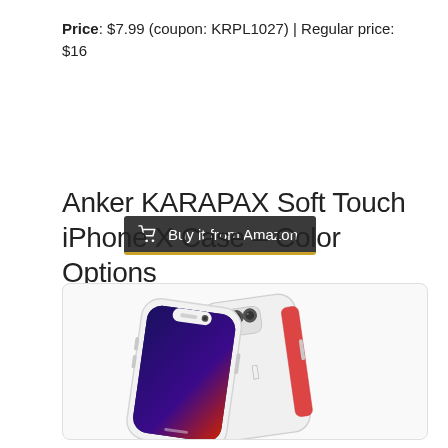Price: $7.99 (coupon: KRPL1027) | Regular price: $16
Buy it from Amazon
Anker KARAPAX Soft Touch iPhone X Case – Color Options
[Figure (photo): Product photo of Anker KARAPAX Soft Touch iPhone X Case showing two iPhones in white/clear cases, one showing the back and one showing the front screen with a dark blue-to-red gradient, on a white background.]